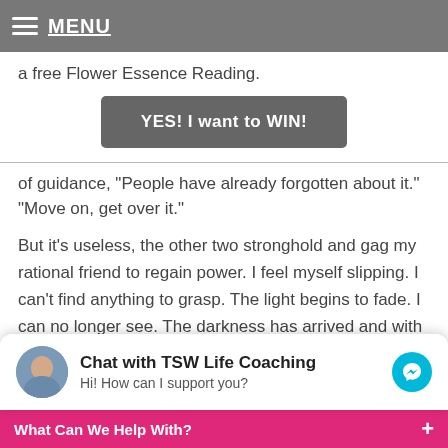MENU
a free Flower Essence Reading.
YES! I want to WIN!
of guidance, "People have already forgotten about it." "Move on, get over it."
But it's useless, the other two stronghold and gag my rational friend to regain power. I feel myself slipping. I can't find anything to grasp. The light begins to fade. I can no longer see. The darkness has arrived and with it comes the Beast.
Next are the stories. The stories mu depression and anxiety
Chat with TSW Life Coaching
Hi! How can I support you?
What Can We Help With?